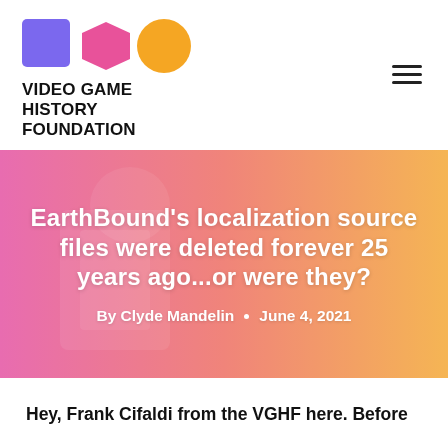[Figure (logo): Video Game History Foundation logo: purple square, pink hexagon, orange circle with organization name in bold black text]
EarthBound's localization source files were deleted forever 25 years ago...or were they?
By Clyde Mandelin · June 4, 2021
Hey, Frank Cifaldi from the VGHF here. Before